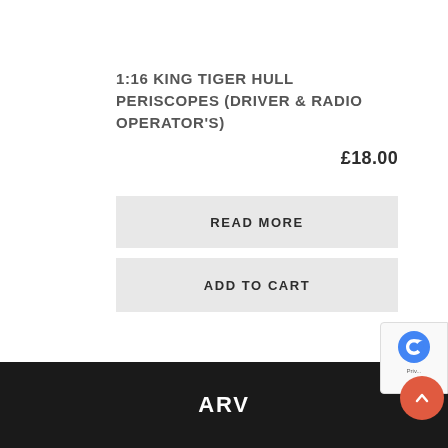1:16 KING TIGER HULL PERISCOPES (DRIVER & RADIO OPERATOR'S)
£18.00
READ MORE
ADD TO CART
ARV